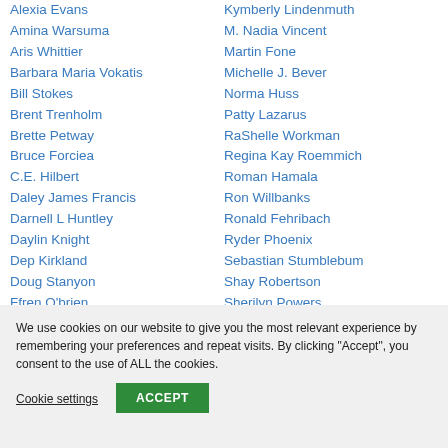Alexia Evans
Amina Warsuma
Aris Whittier
Barbara Maria Vokatis
Bill Stokes
Brent Trenholm
Brette Petway
Bruce Forciea
C.E. Hilbert
Daley James Francis
Darnell L Huntley
Daylin Knight
Dep Kirkland
Doug Stanyon
Ffren O'brien
Kymberly Lindenmuth
M. Nadia Vincent
Martin Fone
Michelle J. Bever
Norma Huss
Patty Lazarus
RaShelle Workman
Regina Kay Roemmich
Roman Hamala
Ron Willbanks
Ronald Fehribach
Ryder Phoenix
Sebastian Stumblebum
Shay Robertson
Sherilyn Powers
We use cookies on our website to give you the most relevant experience by remembering your preferences and repeat visits. By clicking "Accept", you consent to the use of ALL the cookies.
Cookie settings
ACCEPT